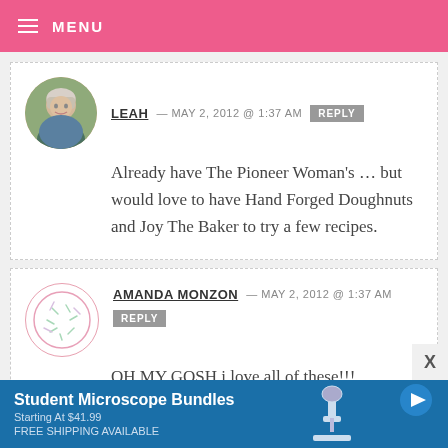MENU
LEAH — MAY 2, 2012 @ 1:37 AM  REPLY
Already have The Pioneer Woman's … but would love to have Hand Forged Doughnuts and Joy The Baker to try a few recipes.
AMANDA MONZON — MAY 2, 2012 @ 1:37 AM  REPLY
OH MY GOSH i love all of these!!!
[Figure (infographic): Advertisement banner: Student Microscope Bundles, Starting At $41.99, FREE SHIPPING AVAILABLE, with microscope image and play button icon]